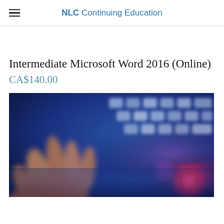NLC Continuing Education
Intermediate Microsoft Word 2016 (Online)
CA$140.00
[Figure (photo): Close-up photo of hands typing on a keyboard with blue and purple bokeh lighting effects]